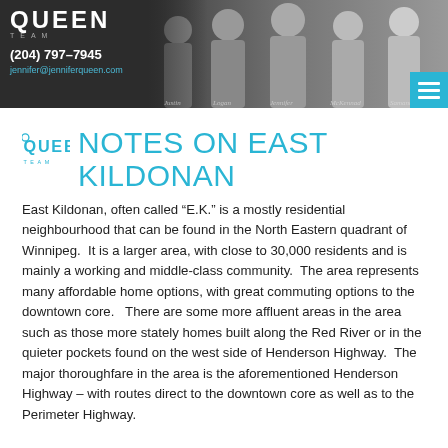[Figure (photo): Header banner with Queen Team logo, phone number (204) 797-7945, email jennifer@jenniferqueen.com, and a group photo of 5 team members on dark background]
NOTES ON EAST KILDONAN
East Kildonan, often called “E.K.” is a mostly residential neighbourhood that can be found in the North Eastern quadrant of Winnipeg. It is a larger area, with close to 30,000 residents and is mainly a working and middle-class community. The area represents many affordable home options, with great commuting options to the downtown core. There are some more affluent areas in the area such as those more stately homes built along the Red River or in the quieter pockets found on the west side of Henderson Highway. The major thoroughfare in the area is the aforementioned Henderson Highway – with routes direct to the downtown core as well as to the Perimeter Highway.